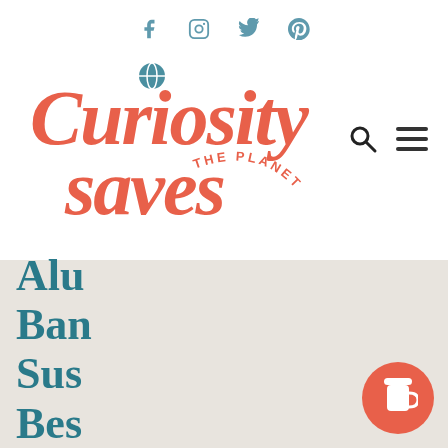Social icons: Facebook, Instagram, Twitter, Pinterest
[Figure (logo): Curiosity Saves The Planet logo in coral/salmon script lettering with a globe icon replacing the dot on the letter i]
Buy Curiosity Saves a coffee, so we can continue to create quality content and pay contributing writers.
Alu
Ban
Sus
Bes...